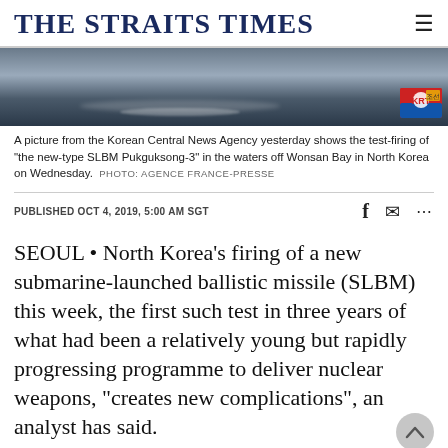THE STRAITS TIMES
[Figure (photo): A photo from the Korean Central News Agency showing the test-firing of the new-type SLBM Pukguksong-3 in the waters off Wonsan Bay in North Korea. A watermark logo is visible in the bottom right corner.]
A picture from the Korean Central News Agency yesterday shows the test-firing of "the new-type SLBM Pukguksong-3" in the waters off Wonsan Bay in North Korea on Wednesday. PHOTO: AGENCE FRANCE-PRESSE
PUBLISHED OCT 4, 2019, 5:00 AM SGT
SEOUL • North Korea's firing of a new submarine-launched ballistic missile (SLBM) this week, the first such test in three years of what had been a relatively young but rapidly progressing programme to deliver nuclear weapons, "creates new complications", an analyst has said.
The Pukguksong-3...